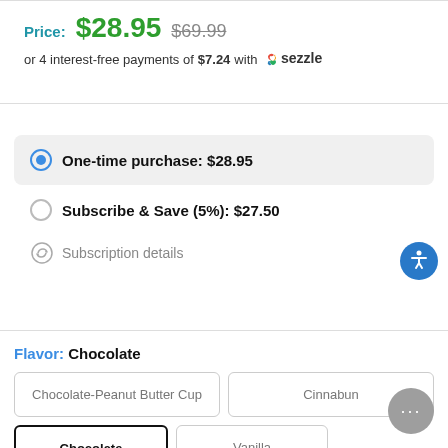Price: $28.95  $69.99
or 4 interest-free payments of $7.24 with Sezzle
One-time purchase: $28.95
Subscribe & Save (5%): $27.50
Subscription details
Flavor: Chocolate
Chocolate-Peanut Butter Cup
Cinnabun
Chocolate
Vanilla